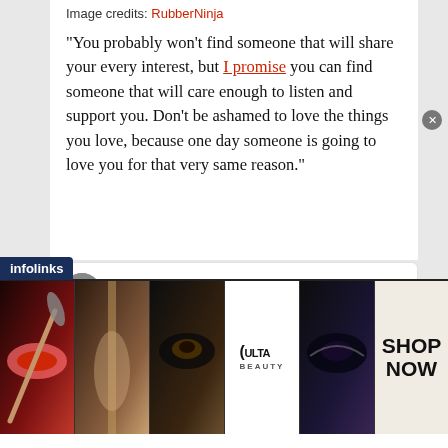Image credits: RubberNinja
“You probably won’t find someone that will share your every interest, but I promise you can find someone that will care enough to listen and support you. Don’t be ashamed to love the things you love, because one day someone is going to love you for that very same reason.”
[Figure (screenshot): Embedded tweet from @twomad_ replying to @stefanrashley saying 'damn, arrogant' with 1,633 likes at 10:30 PM - Apr 15, 2019 and 34 people talking about this]
[Figure (infographic): Ulta Beauty advertisement banner with makeup images (lips with brush, eye makeup, Ulta logo) and SHOP NOW text]